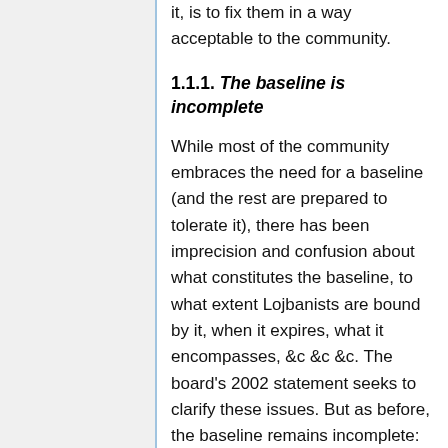it, is to fix them in a way acceptable to the community.
1.1.1. The baseline is incomplete
While most of the community embraces the need for a baseline (and the rest are prepared to tolerate it), there has been imprecision and confusion about what constitutes the baseline, to what extent Lojbanists are bound by it, when it expires, what it encompasses, &c &c &c. The board's 2002 statement seeks to clarify these issues. But as before, the baseline remains incomplete: a dictionary providing further clarification of words needs to be written.
1.1.2. There are inconsistencies in the existing prescription
From time to time, minor bugs are found